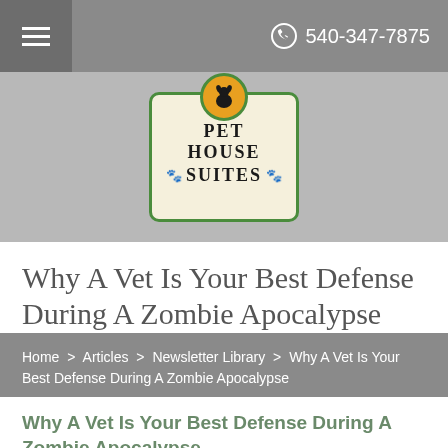540-347-7875
[Figure (logo): Pet House Suites logo with green border, orange circle with dog silhouette on top, text PET HOUSE SUITES with orange paw prints]
Why A Vet Is Your Best Defense During A Zombie Apocalypse
Home > Articles > Newsletter Library > Why A Vet Is Your Best Defense During A Zombie Apocalypse
Why A Vet Is Your Best Defense During A Zombie Apocalypse
Created in Newsletter Library